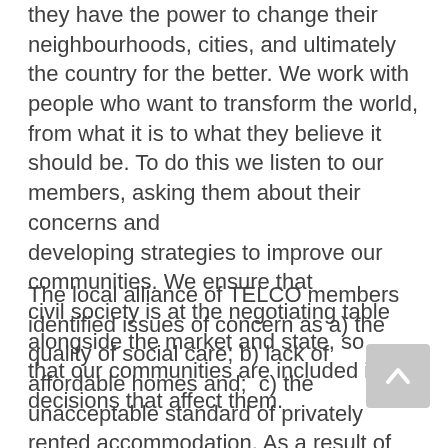they have the power to change their neighbourhoods, cities, and ultimately the country for the better. We work with people who want to transform the world, from what it is to what they believe it should be. To do this we listen to our members, asking them about their concerns and developing strategies to improve our communities. We ensure that civil society is at the negotiating table alongside the market and state, so that our communities are included in the decisions that affect them.
The local alliance of TELCO members identified issues of concern as a) the quality of social care; b) lack of affordable homes and;  c) the unacceptable standard of privately rented accommodation. As a result of our organised campaigning, Redbridge Council is now an accredited Living Wage Employer, committed to paying social